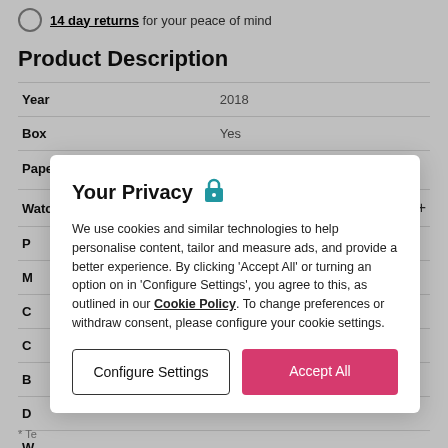14 day returns for your peace of mind
Product Description
| Year | 2018 |
| Box | Yes |
| Papers (i) | Yes |
| Watchfinder warranty | 24 months*  + |
Your Privacy 🔒
We use cookies and similar technologies to help personalise content, tailor and measure ads, and provide a better experience. By clicking 'Accept All' or turning an option on in 'Configure Settings', you agree to this, as outlined in our Cookie Policy. To change preferences or withdraw consent, please configure your cookie settings.
Configure Settings
Accept All
* Te